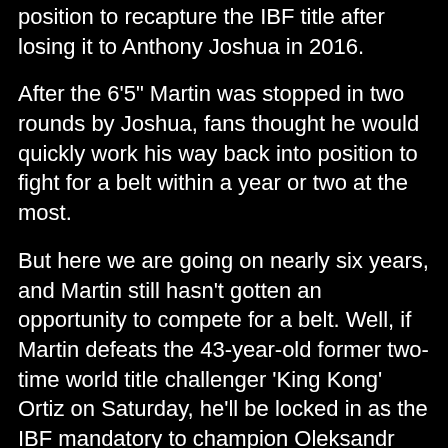position to recapture the IBF title after losing it to Anthony Joshua in 2016.
After the 6'5" Martin was stopped in two rounds by Joshua, fans thought he would quickly work his way back into position to fight for a belt within a year or two at the most.
But here we are going on nearly six years, and Martin still hasn't gotten an opportunity to compete for a belt. Well, if Martin defeats the 43-year-old former two-time world title challenger 'King Kong' Ortiz on Saturday, he'll be locked in as the IBF mandatory to champion Oleksandr Usyk.